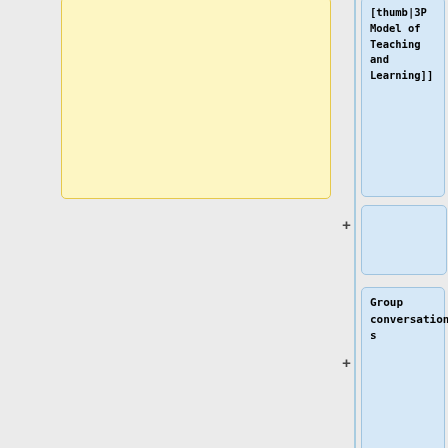[Figure (screenshot): Wikipedia diff view showing two columns of wiki markup. Left column shows yellow boxes with gallery/wikitable markup (removed lines). Right column shows blue boxes with wiki markup (added lines) including thumb image reference '[thumb|3P Model of Teaching and Learning]]', 'Group conversations', wikitable markup with '! Time !! Activity !! Notes' and '! Time !! Topic !! Activity !!' headers.]